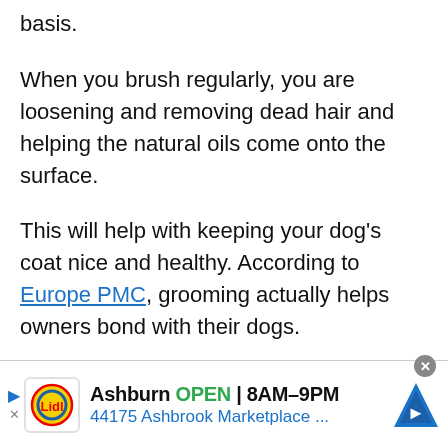basis.
When you brush regularly, you are loosening and removing dead hair and helping the natural oils come onto the surface.
This will help with keeping your dog’s coat nice and healthy. According to Europe PMC, grooming actually helps owners bond with their dogs.
Brushing is only half of the routine. You should also make sure that you are bathing your dog properly.
Just like brushing, lathering the hair will help get rid
[Figure (other): Lidl store advertisement banner: Ashburn OPEN 8AM-9PM, 44175 Ashbrook Marketplace ...]